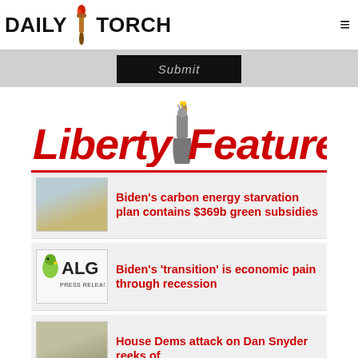DAILY TORCH
[Figure (screenshot): Submit button on dark background]
[Figure (logo): Liberty Features logo with Statue of Liberty holding torch, red italic text]
[Figure (screenshot): News thumbnail: Biden carbon energy story]
Biden’s carbon energy starvation plan contains $369b green subsidies
[Figure (logo): ALG Press Releases logo]
Biden’s ‘transition’ is economic pain through recession
[Figure (photo): News thumbnail: House Dems story]
House Dems attack on Dan Snyder reeks of